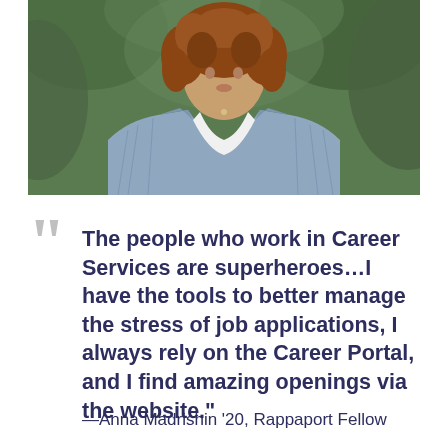[Figure (photo): Portrait photo of a young woman with curly reddish-brown hair wearing a light blue plaid blazer over a white shirt, photographed outdoors with a blurred green background]
“The people who work in Career Services are superheroes…I have the tools to better manage the stress of job applications, I always rely on the Career Portal, and I find amazing openings via the website.”
—Anna Madrishin ’20, Rappaport Fellow